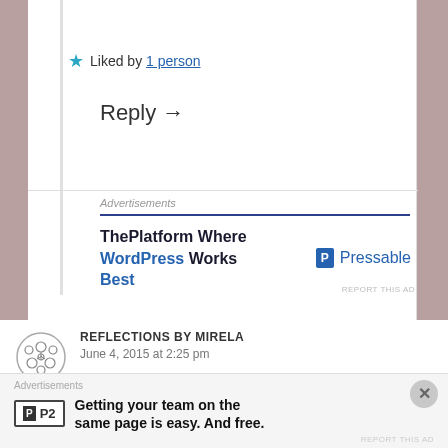★ Liked by 1 person
Reply →
Advertisements
[Figure (screenshot): Pressable advertisement: ThePlatform Where WordPress Works Best]
REPORT THIS AD
REFLECTIONS BY MIRELA
June 4, 2015 at 2:25 pm
I am loving the blue and the purple! I love Winners
Advertisements
[Figure (screenshot): P2 advertisement: Getting your team on the same page is easy. And free.]
REPORT THIS AD